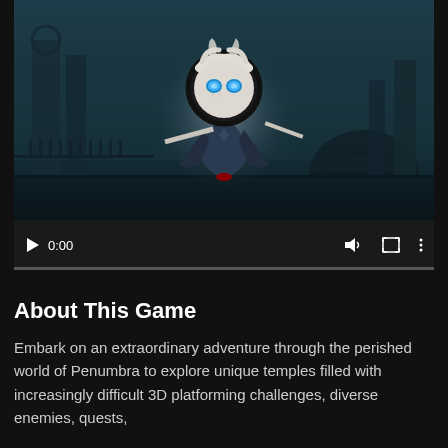[Figure (screenshot): Video player showing a dark fantasy game scene. A stylized character with a white glowing circular head with blue glowing eyes, white flowing hair, and a dark cloak stands in the center against a dark teal moody background with silhouetted gothic architecture. The character appears to be surrounded by a large black circle. Video controls show at the bottom: play button, timestamp 0:00, volume icon, fullscreen icon, and three-dot menu. A progress bar is at the very bottom.]
About This Game
Embark on an extraordinary adventure through the perished world of Penumbra to explore unique temples filled with increasingly difficult 3D platforming challenges, diverse enemies, quests,